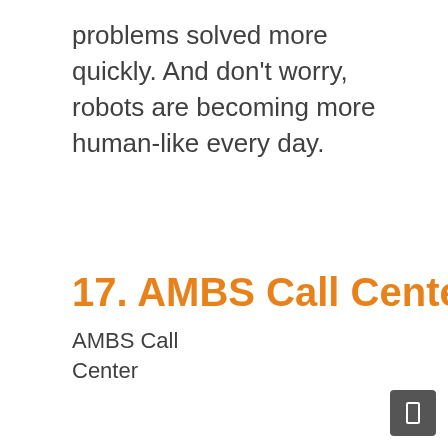problems solved more quickly. And don't worry, robots are becoming more human-like every day.
17. AMBS Call Center
AMBS Call Center